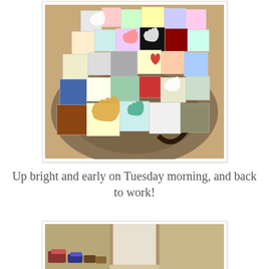[Figure (photo): A collection of colorful handprint art tiles/quilt squares spread out on a patterned area rug on a wood floor. The squares feature various painted handprints in multiple colors, some with hearts and stars, displayed as a quilt layout.]
Up bright and early on Tuesday morning, and back to work!
[Figure (photo): A partial photo showing shoes/items on the floor near a doorway with a door and curtain visible.]